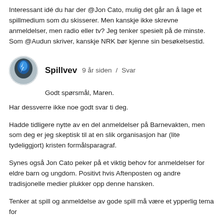Interessant idé du har der @Jon Cato, mulig det går an å lage et spillmedium som du skisserer. Men kanskje ikke skrevne anmeldelser, men radio eller tv? Jeg tenker spesielt på de minste. Som @Audun skriver, kanskje NRK bør kjenne sin besøkelsestid.
[Figure (photo): Circular avatar image of user Spillvev, featuring a blue glowing figure]
Spillvev   9 år siden  /  Svar
Godt spørsmål, Maren.
Har dessverre ikke noe godt svar ti deg.
Hadde tidligere nytte av en del anmeldelser på Barnevakten, men som deg er jeg skeptisk til at en slik organisasjon har (lite tydeliggjort) kristen formålsparagraf.
Synes også Jon Cato peker på et viktig behov for anmeldelser for eldre barn og ungdom. Positivt hvis Aftenposten og andre tradisjonelle medier plukker opp denne hansken.
Tenker at spill og anmeldelse av gode spill må være et ypperlig tema for